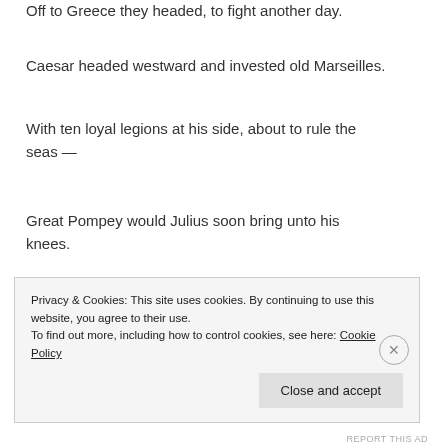Off to Greece they headed, to fight another day.
Caesar headed westward and invested old Marseilles.
With ten loyal legions at his side, about to rule the seas —
Great Pompey would Julius soon bring unto his knees.
Caesar crossed the Rubicon way back in 49.
Caesar was a rebel, and the rebel crossed the line.
Privacy & Cookies: This site uses cookies. By continuing to use this website, you agree to their use.
To find out more, including how to control cookies, see here: Cookie Policy
REPORT THIS AD